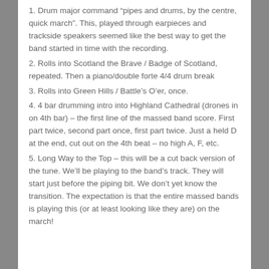1. Drum major command “pipes and drums, by the centre, quick march”. This, played through earpieces and trackside speakers seemed like the best way to get the band started in time with the recording.
2. Rolls into Scotland the Brave / Badge of Scotland, repeated. Then a piano/double forte 4/4 drum break
3. Rolls into Green Hills / Battle’s O’er, once.
4. 4 bar drumming intro into Highland Cathedral (drones in on 4th bar) – the first line of the massed band score. First part twice, second part once, first part twice. Just a held D at the end, cut out on the 4th beat – no high A, F, etc.
5. Long Way to the Top – this will be a cut back version of the tune. We’ll be playing to the band’s track. They will start just before the piping bit. We don’t yet know the transition. The expectation is that the entire massed bands is playing this (or at least looking like they are) on the march!